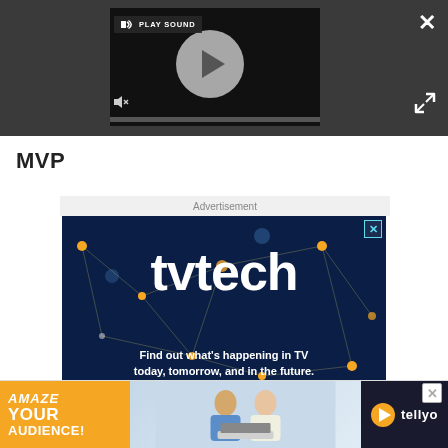[Figure (screenshot): Video player UI on dark background with play button circle, PLAY SOUND label, mute icon, and progress bar. Close X and expand arrow icons on right side.]
MVP
Advertisement
[Figure (screenshot): tvtech advertisement banner on dark blue network background. Shows 'tvtech' in large white bold text, 'Find out what’s happening in TV today, tomorrow, and in the future.' subtitle, orange bar at bottom, and blue X close button.]
[Figure (screenshot): Bottom banner ad: orange section with 'AMAZE YOUR AUDIENCE!' text, photo of two elderly people with laptop, Tellyo logo with orange play button circle on dark background. Gray X close button top right.]